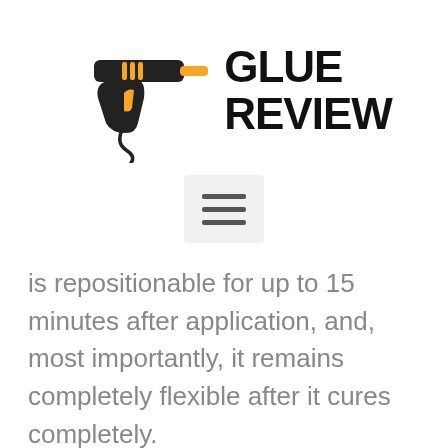[Figure (logo): Glue gun illustration with orange barrel tip and orange trigger accent, black body, with cord. Next to bold black all-caps text reading GLUE REVIEW in two lines.]
[Figure (other): Hamburger menu icon: three horizontal dark grey lines on a light grey rounded rectangle background.]
is repositionable for up to 15 minutes after application, and, most importantly, it remains completely flexible after it cures completely.